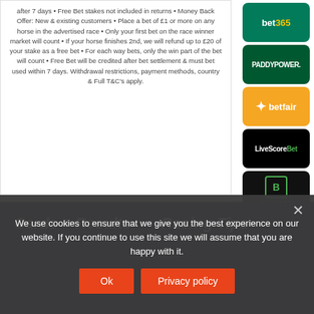after 7 days • Free Bet stakes not included in returns • Money Back Offer: New & existing customers • Place a bet of £1 or more on any horse in the advertised race • Only your first bet on the race winner market will count • If your horse finishes 2nd, we will refund up to £20 of your stake as a free bet • For each way bets, only the win part of the bet will count • Free Bet will be credited after bet settlement & must bet used within 7 days. Withdrawal restrictions, payment methods, country & Full T&C's apply.
[Figure (logo): bet365 green logo]
[Figure (logo): PaddyPower green logo]
[Figure (logo): Betfair yellow/orange logo]
[Figure (logo): LiveScoreBet black logo]
[Figure (logo): FansBet black logo with green B icon]
[Figure (other): Down arrow button to show more bookmakers]
Cards + Results
Racing Tips
We use cookies to ensure that we give you the best experience on our website. If you continue to use this site we will assume that you are happy with it.
Ok
Privacy policy